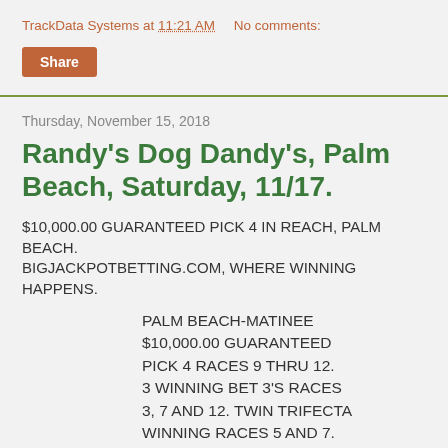TrackData Systems at 11:21 AM    No comments:
Share
Thursday, November 15, 2018
Randy's Dog Dandy's, Palm Beach, Saturday, 11/17.
$10,000.00 GUARANTEED PICK 4 IN REACH, PALM BEACH.
BIGJACKPOTBETTING.COM, WHERE WINNING HAPPENS.
PALM BEACH-MATINEE $10,000.00 GUARANTEED PICK 4 RACES 9 THRU 12. 3 WINNING BET 3'S RACES 3, 7 AND 12. TWIN TRIFECTA WINNING RACES 5 AND 7. CLICK LIVE SHOW 1 EASTERN.